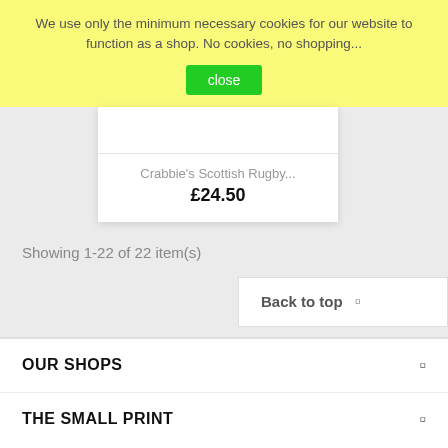We use only the minimum necessary cookies for our website to function as a shop. No cookies, no shopping...
close
Crabbie's Scottish Rugby...
£24.50
Showing 1-22 of 22 item(s)
Back to top
OUR SHOPS
THE SMALL PRINT